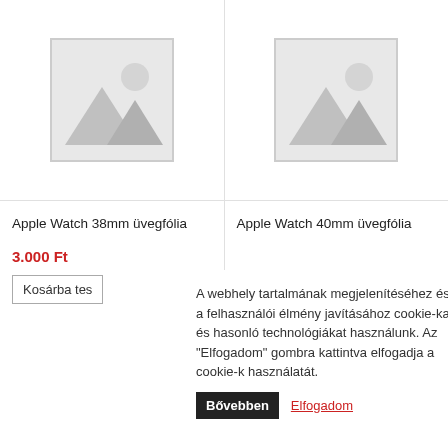[Figure (illustration): Placeholder image for Apple Watch 38mm üvegfólia product — grey image placeholder icon with mountain and sun]
[Figure (illustration): Placeholder image for Apple Watch 40mm üvegfólia product — grey image placeholder icon with mountain and sun]
Apple Watch 38mm üvegfólia
Apple Watch 40mm üvegfólia
3.000 Ft
Kosárba tes
A webhely tartalmának megjelenítéséhez és a felhasználói élmény javításához cookie-kat és hasonló technológiákat használunk. Az "Elfogadom" gombra kattintva elfogadja a cookie-k használatát.
Bővebben
Elfogadom